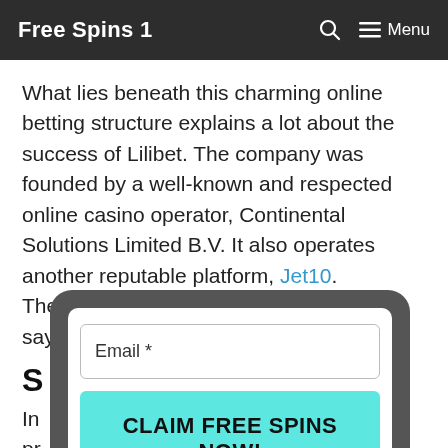Free Spins 1  🔍  ≡ Menu
What lies beneath this charming online betting structure explains a lot about the success of Lilibet. The company was founded by a well-known and respected online casino operator, Continental Solutions Limited B.V. It also operates another reputable platform, Jet10. Therefore it is a great example of the saying, success is never accidental.
S…
In… pr… pl…
[Figure (screenshot): Modal popup with an email input field labeled 'Email *' and a teal 'CLAIM FREE SPINS NOW!' button, displayed over a dark rounded rectangle overlay on top of the page content.]